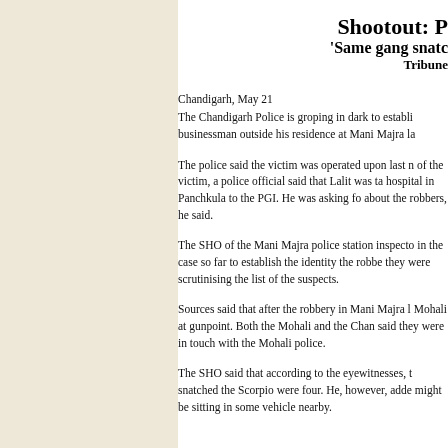Shootout: P
'Same gang snato
Tribune
Chandigarh, May 21
The Chandigarh Police is groping in dark to establi businessman outside his residence at Mani Majra la
The police said the victim was operated upon last n of the victim, a police official said that Lalit was ta hospital in Panchkula to the PGI. He was asking fo about the robbers, he said.
The SHO of the Mani Majra police station inspecto in the case so far to establish the identity the robbe they were scrutinising the list of the suspects.
Sources said that after the robbery in Mani Majra l Mohali at gunpoint. Both the Mohali and the Chan said they were in touch with the Mohali police.
The SHO said that according to the eyewitnesses, t snatched the Scorpio were four. He, however, adde might be sitting in some vehicle nearby.